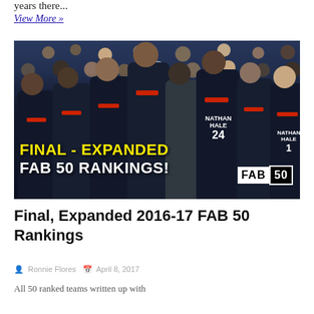years there...
View More »
[Figure (photo): Basketball team photo with overlay text reading FINAL - EXPANDED FAB 50 RANKINGS! and FAB 50 logo. Players wearing Nathan Hale jerseys including #24 and #1.]
Final, Expanded 2016-17 FAB 50 Rankings
All 50 ranked teams written up with